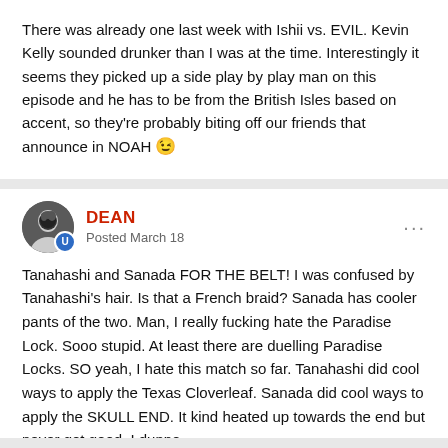There was already one last week with Ishii vs. EVIL. Kevin Kelly sounded drunker than I was at the time. Interestingly it seems they picked up a side play by play man on this episode and he has to be from the British Isles based on accent, so they're probably biting off our friends that announce in NOAH 😉
DEAN
Posted March 18
Tanahashi and Sanada FOR THE BELT!  I was confused by Tanahashi's hair.  Is that a French braid?  Sanada has cooler pants of the two.  Man, I really fucking hate the Paradise Lock.  Sooo stupid.  At least there are duelling Paradise Locks.  SO yeah, I hate this match so far.  Tanahashi did cool ways to apply the Texas Cloverleaf.  Sanada did cool ways to apply the SKULL END.  It kind heated up towards the end but never got good.  I dunno.